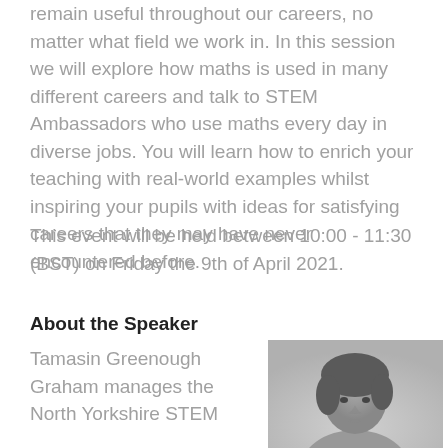remain useful throughout our careers, no matter what field we work in. In this session we will explore how maths is used in many different careers and talk to STEM Ambassadors who use maths every day in diverse jobs. You will learn how to enrich your teaching with real-world examples whilst inspiring your pupils with ideas for satisfying careers that they may have never encountered before.
This event will be held between 10:00 - 11:30 (BST) on Friday the 9th of April 2021.
About the Speaker
Tamasin Greenough Graham manages the North Yorkshire STEM
[Figure (photo): Black and white portrait photograph of Tamasin Greenough Graham, showing her head and shoulders]